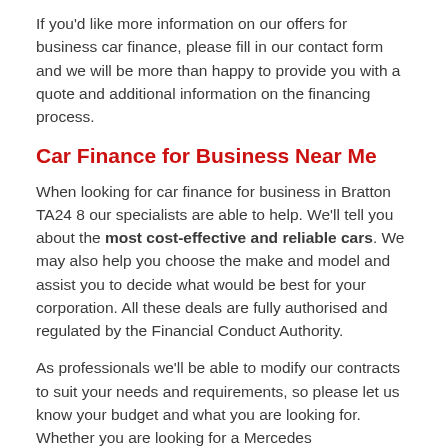If you'd like more information on our offers for business car finance, please fill in our contact form and we will be more than happy to provide you with a quote and additional information on the financing process.
Car Finance for Business Near Me
When looking for car finance for business in Bratton TA24 8 our specialists are able to help. We'll tell you about the most cost-effective and reliable cars. We may also help you choose the make and model and assist you to decide what would be best for your corporation. All these deals are fully authorised and regulated by the Financial Conduct Authority.
As professionals we'll be able to modify our contracts to suit your needs and requirements, so please let us know your budget and what you are looking for. Whether you are looking for a Mercedes https://www.best-car-lease-deals.co.uk/brands/mercedes/somerset/bratton/ or any other brand, we have what you are looking for.
Lots more people decide to haggle prices right after contrasting a